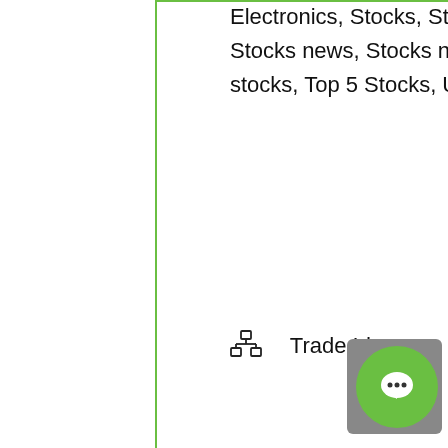Electronics, Stocks, Stocks Making, stocks markets, Stocks news, Stocks news friday, stocks today, today stocks, Top 5 Stocks, US Stocks, US Stocks Market
Trade Ideas
RELATED POSTS
[Figure (photo): Bitcoin gold coin held up in front of a blurred stock market chart background with blue and purple tones and a green stock line chart visible]